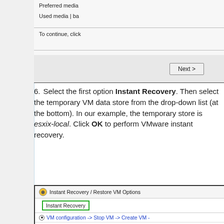[Figure (screenshot): Top portion of a UI dialog showing 'Preferred media' and 'Used media | ba...' fields, a divider, text 'To continue, click...', another divider, and a Next > button in a gray button bar.]
6. Select the first option Instant Recovery. Then select the temporary VM data store from the drop-down list (at the bottom). In our example, the temporary store is esxix-local. Click OK to perform VMware instant recovery.
[Figure (screenshot): Dialog showing 'Instant Recovery / Restore VM Options' with a green-bordered 'Instant Recovery' option selected, followed by 'VM configuration -> Stop VM -> Create VM ->', 'Relocate -> Remove snapshot with consolida...', 'VM Configuration', 'Create VM', and 'Add VMDK' rows.]